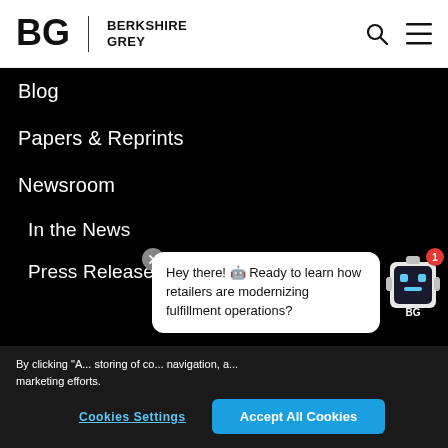Berkshire Grey
Blog
Papers & Reprints
Newsroom
In the News
Press Releases
Hey there! 🤖 Ready to learn how retailers are modernizing fulfillment operations?
By clicking "A... storing of co... navigation, a... marketing efforts.
Cookies Settings | Accept All Cookies